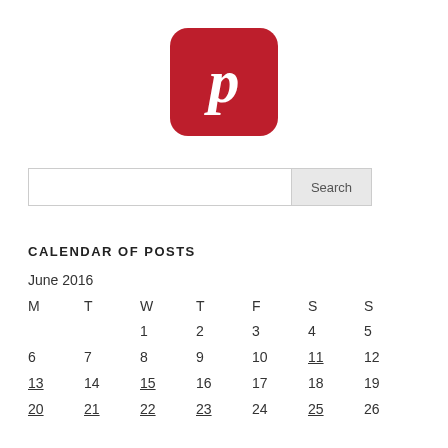[Figure (logo): Pinterest app icon — red rounded square with white P logo]
Search (input box with Search button)
CALENDAR OF POSTS
| M | T | W | T | F | S | S |
| --- | --- | --- | --- | --- | --- | --- |
|  |  | 1 | 2 | 3 | 4 | 5 |
| 6 | 7 | 8 | 9 | 10 | 11 | 12 |
| 13 | 14 | 15 | 16 | 17 | 18 | 19 |
| 20 | 21 | 22 | 23 | 24 | 25 | 26 |